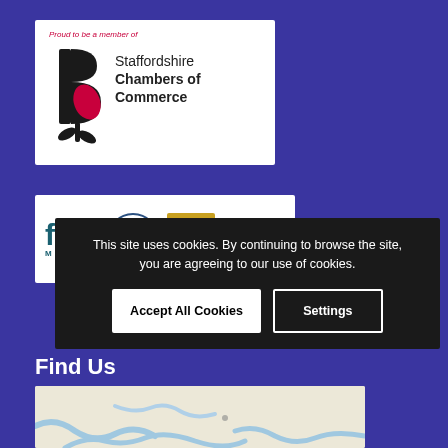[Figure (logo): Staffordshire Chambers of Commerce logo: 'Proud to be a member of' text in red italic above the Chambers logo with a stylized B and rose, and text 'Staffordshire Chambers of Commerce']
[Figure (logo): FSB Member logo alongside two other certification/royal warrant logos]
This site uses cookies. By continuing to browse the site, you are agreeing to our use of cookies.
Accept All Cookies
Settings
Find Us
[Figure (map): Partial map showing blue waterways/rivers on a light background]